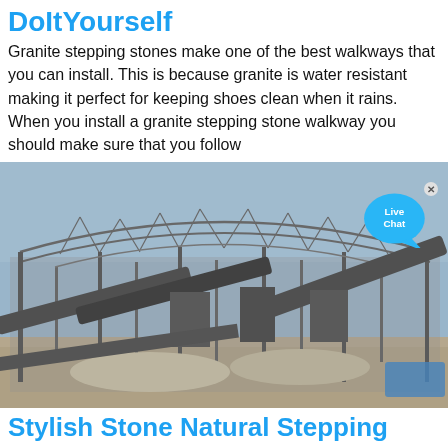DoItYourself
Granite stepping stones make one of the best walkways that you can install. This is because granite is water resistant making it perfect for keeping shoes clean when it rains. When you install a granite stepping stone walkway you should make sure that you follow
[Figure (photo): Industrial steel structure / granite quarry processing facility with conveyor belts and machinery under a large metal roof frame, with a 'Live Chat' bubble overlay in the top right corner.]
Stylish Stone Natural Stepping Stone 400mm